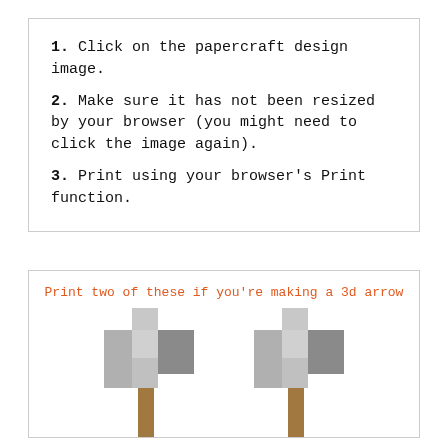1. Click on the papercraft design image.
2. Make sure it has not been resized by your browser (you might need to click the image again).
3. Print using your browser's Print function.
Print two of these if you're making a 3d arrow
[Figure (illustration): Two pixelated Minecraft-style stone axe/hammer papercraft templates side by side, showing cross-shaped flat patterns with grey stone head and brown wooden handle.]